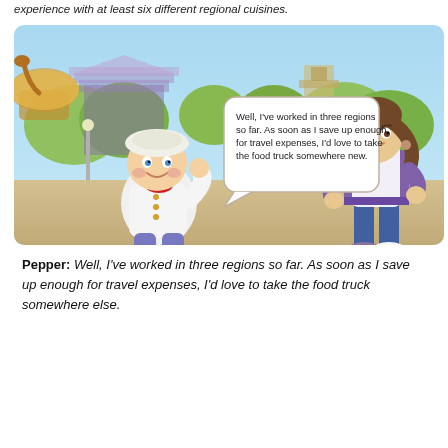experience with at least six different regional cuisines.
[Figure (illustration): Animated game scene showing two characters: a short chef in white uniform with a beret (Pepper) speaking to a tall woman in a white apron and jeans. A speech bubble reads: 'Well, I've worked in three regions so far. As soon as I save up enough for travel expenses, I'd love to take the food truck somewhere new.' Background shows a colorful town with trees and buildings.]
Pepper: Well, I've worked in three regions so far. As soon as I save up enough for travel expenses, I'd love to take the food truck somewhere else.